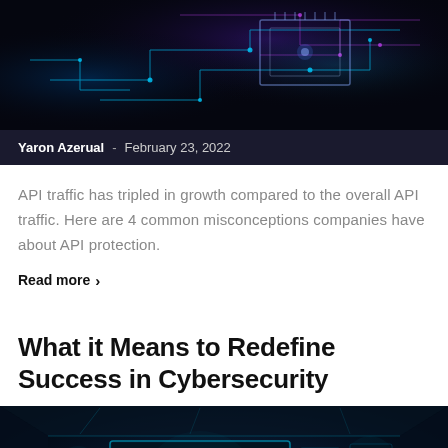[Figure (photo): Futuristic glowing circuit board with blue and purple neon lights on dark background]
Yaron Azerual  -  February 23, 2022
API traffic has tripled in growth compared to the overall API traffic. Here are 4 common misconceptions companies have about API protection.
Read more >
What it Means to Redefine Success in Cybersecurity
[Figure (photo): Dark futuristic cybersecurity operations center with holographic world map display and multiple screens]